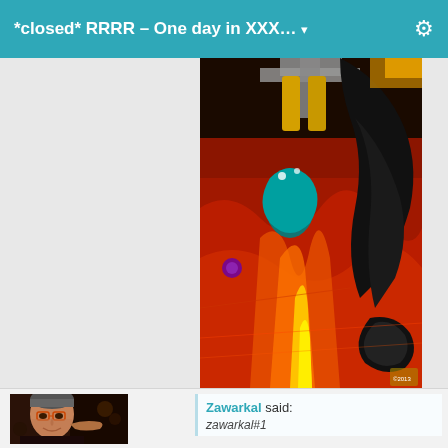*closed* RRRR – One day in XXX... ▾
[Figure (illustration): Digital artwork showing figures in a dark, fiery scene with orange/red tones, teal and yellow elements, viewed from an unusual angle]
[Figure (photo): Profile photo of an older man with glasses in a dark setting]
Zawarkal said: zawarkal#1